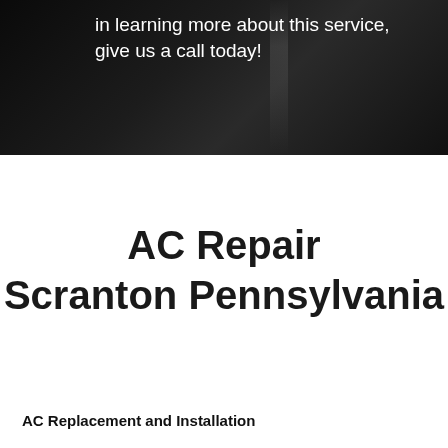in learning more about this service, give us a call today!
AC Repair Scranton Pennsylvania
AC Replacement and Installation